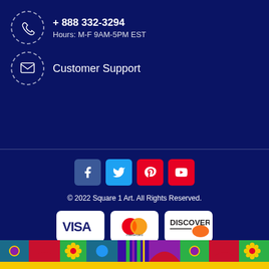+ 888 332-3294
Hours: M-F 9AM-5PM EST
Customer Support
[Figure (infographic): Social media icon buttons: Facebook, Twitter, Pinterest, YouTube]
© 2022 Square 1 Art. All Rights Reserved.
[Figure (infographic): Payment method logos: Visa, Mastercard, Discover]
[Figure (illustration): Colorful decorative footer bar with flowers, circles, arches in red, blue, green, yellow, purple]